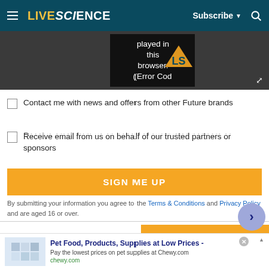LiveScience – Subscribe – Search
[Figure (screenshot): Video player error – 'played in this browser. (Error Cod' with LiveScience logo on dark background and expand icon]
Contact me with news and offers from other Future brands
Receive email from us on behalf of our trusted partners or sponsors
SIGN ME UP
By submitting your information you agree to the Terms & Conditions and Privacy Policy and are aged 16 or over.
MOST READ
MOST SHARED
[Figure (screenshot): Advertisement banner: Pet Food, Products, Supplies at Low Prices – Pay the lowest prices on pet supplies at Chewy.com – chewy.com]